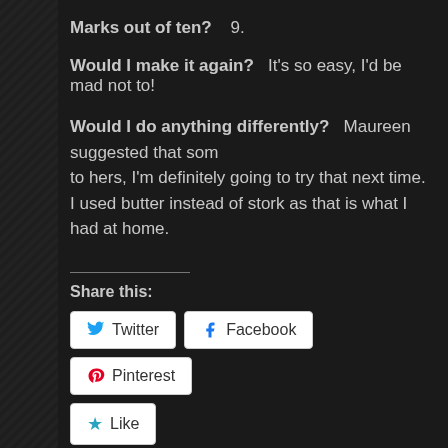Marks out of ten?   9.
Would I make it again?   It's so easy, I'd be mad not to!
Would I do anything differently?   Maureen suggested that som to hers, I'm definitely going to try that next time.
I used butter instead of stork as that is what I had at home.
Share this:
Twitter  Facebook  Pinterest
Like
Be the first to like this.
Related